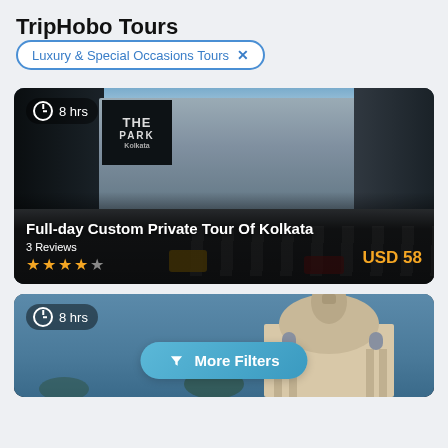TripHobo Tours
Luxury & Special Occasions Tours ×
[Figure (photo): Street view of Kolkata with colonial-era buildings, 'The Park' hotel signage visible, road with lane markings. Duration badge: 8 hrs. Tour title: Full-day Custom Private Tour Of Kolkata. 3 Reviews, 4-star rating. Price: USD 58]
[Figure (photo): Partial view of a domed colonial building in Kolkata against a blue sky. Duration badge: 8 hrs. 'More Filters' button overlay.]